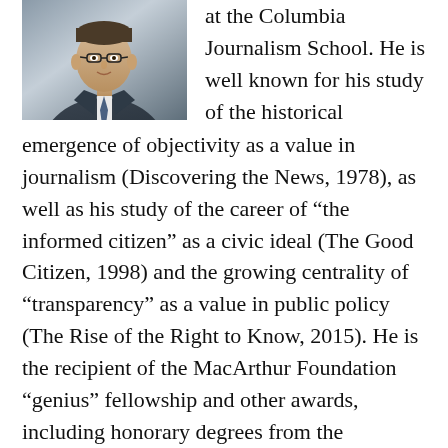[Figure (photo): Portrait photo of a man wearing a suit and tie, cropped at upper body.]
at the Columbia Journalism School. He is well known for his study of the historical emergence of objectivity as a value in journalism (Discovering the News, 1978), as well as his study of the career of “the informed citizen” as a civic ideal (The Good Citizen, 1998) and the growing centrality of “transparency” as a value in public policy (The Rise of the Right to Know, 2015). He is the recipient of the MacArthur Foundation “genius” fellowship and other awards, including honorary degrees from the University of Groningen (Netherlands) and Hong Kong Baptist University.
Abstract: People still criticize “objectivity” in journalism as itself a fraud or cover-up, but “objectivity” as a description of journalism gave way to a more complex